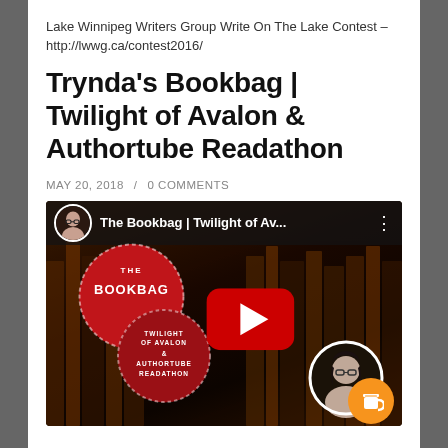Lake Winnipeg Writers Group Write On The Lake Contest – http://lwwg.ca/contest2016/
Trynda's Bookbag | Twilight of Avalon & Authortube Readathon
MAY 20, 2018  /  0 COMMENTS
[Figure (screenshot): YouTube video thumbnail for 'The Bookbag | Twilight of Av...' showing a dark background with old books, a woman's profile picture in top left, a red circular stamp logo with 'THE BOOKBAG' and 'TWILIGHT OF AVALON & AUTHORTUBE READATHON', a red YouTube play button in the center, a circular profile photo of a woman (bottom right), and an orange coffee cup icon.]